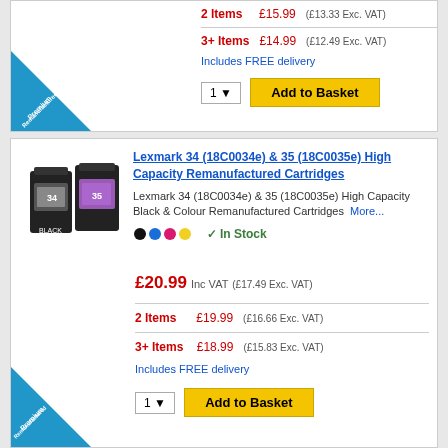2 Items  £15.99  (£13.33 Exc. VAT)
3+ Items  £14.99  (£12.49 Exc. VAT)
Includes FREE delivery
1 ▼  Add to Basket
[Figure (photo): Two Lexmark ink cartridges (34 black and 35 colour)]
Lexmark 34 (18C0034e) & 35 (18C0035e) High Capacity Remanufactured Cartridges
Lexmark 34 (18C0034e) & 35 (18C0035e) High Capacity Black & Colour Remanufactured Cartridges  More...
● ● ● ●  ✓ In Stock
£20.99 Inc VAT (£17.49 Exc. VAT)
2 Items  £19.99  (£16.66 Exc. VAT)
3+ Items  £18.99  (£15.83 Exc. VAT)
Includes FREE delivery
1 ▼  Add to Basket